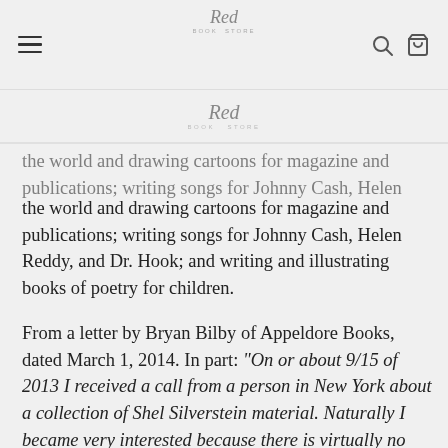[hamburger menu] [logo: Red Book Store] [search icon] [cart icon]
the world and drawing cartoons for magazine and publications; writing songs for Johnny Cash, Helen Reddy, and Dr. Hook; and writing and illustrating books of poetry for children.
From a letter by Bryan Bilby of Appeldore Books, dated March 1, 2014. In part: "On or about 9/15 of 2013 I received a call from a person in New York about a collection of Shel Silverstein material. Naturally I became very interested because there is virtually no Silverstein manuscript material or art work on the market. The facts were revealed to me that Silverstein had dumped all this paper not in his own trash can...but in his neighbor's trash can instead. The treasures were incredible including...a